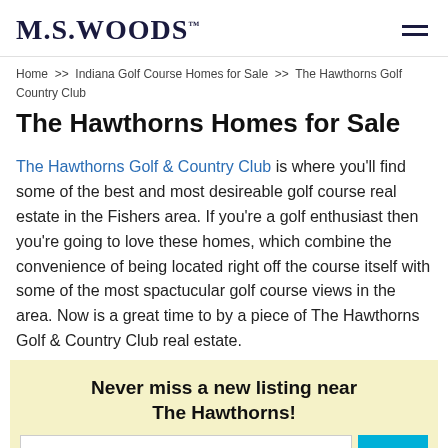M.S.WOODS
Home >> Indiana Golf Course Homes for Sale >> The Hawthorns Golf Country Club
The Hawthorns Homes for Sale
The Hawthorns Golf & Country Club is where you'll find some of the best and most desireable golf course real estate in the Fishers area. If you're a golf enthusiast then you're going to love these homes, which combine the convenience of being located right off the course itself with some of the most spactucular golf course views in the area. Now is a great time to by a piece of The Hawthorns Golf & Country Club real estate.
Never miss a new listing near The Hawthorns!